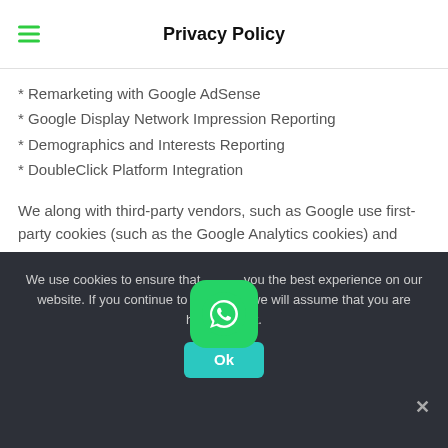Privacy Policy
* Remarketing with Google AdSense
* Google Display Network Impression Reporting
* Demographics and Interests Reporting
* DoubleClick Platform Integration
We along with third-party vendors, such as Google use first-party cookies (such as the Google Analytics cookies) and third-party cookies (such as the DoubleClick cookie) or other third-party identifiers together to compile data regarding user interactions
We use cookies to ensure that we give you the best experience on our website. If you continue to use this site we will assume that you are happy with it.